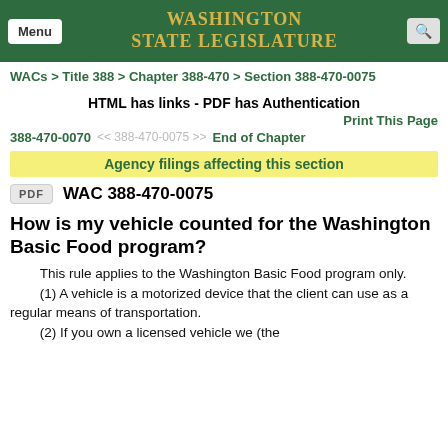Washington State Legislature
WACs > Title 388 > Chapter 388-470 > Section 388-470-0075
HTML has links - PDF has Authentication
Print This Page
388-470-0070  <<  388-470-0075  >>  End of Chapter
Agency filings affecting this section
PDF  WAC 388-470-0075
How is my vehicle counted for the Washington Basic Food program?
This rule applies to the Washington Basic Food program only.
(1) A vehicle is a motorized device that the client can use as a regular means of transportation.
(2) If you own a licensed vehicle we (the